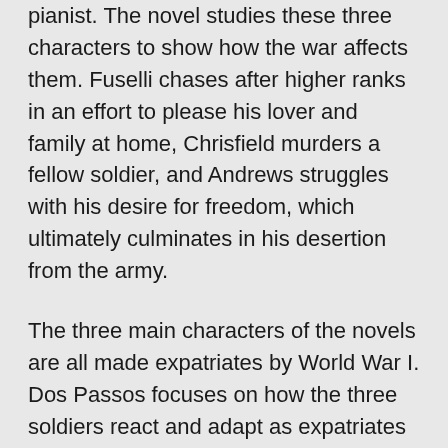pianist. The novel studies these three characters to show how the war affects them. Fuselli chases after higher ranks in an effort to please his lover and family at home, Chrisfield murders a fellow soldier, and Andrews struggles with his desire for freedom, which ultimately culminates in his desertion from the army.
The three main characters of the novels are all made expatriates by World War I. Dos Passos focuses on how the three soldiers react and adapt as expatriates because of the war. This makes Three Soldiers unique as an expatriate text because it directly examines the creation of an expatriate in Paris through a fictional lens. This allows Three Soldiers a more indirect look at the expatriate experience than direct, nonfictional